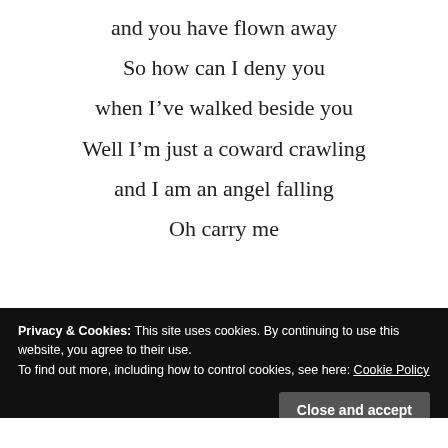and you have flown away
So how can I deny you
when I’ve walked beside you
Well I’m just a coward crawling
and I am an angel falling
Oh carry me
Privacy & Cookies: This site uses cookies. By continuing to use this website, you agree to their use.
To find out more, including how to control cookies, see here: Cookie Policy